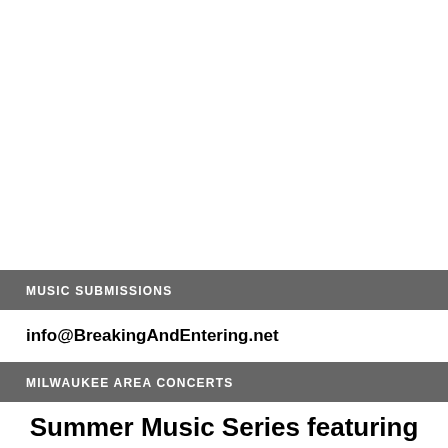MUSIC SUBMISSIONS
info@BreakingAndEntering.net
MILWAUKEE AREA CONCERTS
Summer Music Series featuring